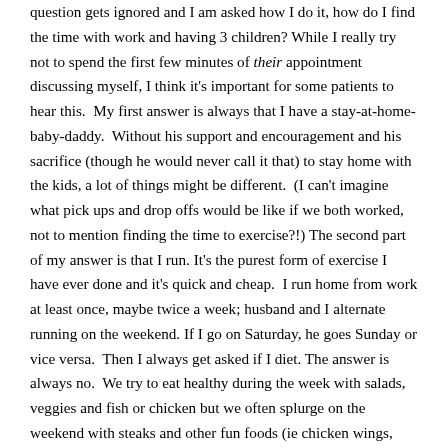question gets ignored and I am asked how I do it, how do I find the time with work and having 3 children? While I really try not to spend the first few minutes of their appointment discussing myself, I think it's important for some patients to hear this.  My first answer is always that I have a stay-at-home-baby-daddy.  Without his support and encouragement and his sacrifice (though he would never call it that) to stay home with the kids, a lot of things might be different.  (I can't imagine what pick ups and drop offs would be like if we both worked, not to mention finding the time to exercise?!) The second part of my answer is that I run. It's the purest form of exercise I have ever done and it's quick and cheap.  I run home from work at least once, maybe twice a week; husband and I alternate running on the weekend. If I go on Saturday, he goes Sunday or vice versa.  Then I always get asked if I diet. The answer is always no.  We try to eat healthy during the week with salads, veggies and fish or chicken but we often splurge on the weekend with steaks and other fun foods (ie chicken wings, pizza, fries, beer and wine).  I know what my weaknesses are and its primarily dessert.  We don't have dessert after dinner anymore.  I might have something